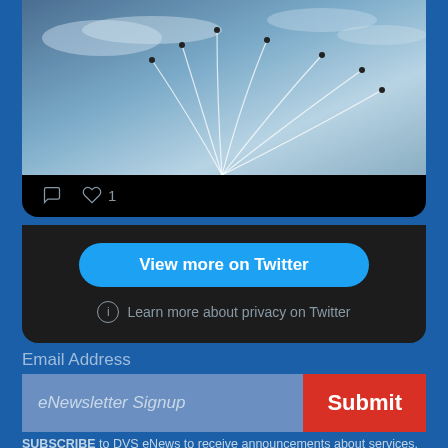[Figure (screenshot): Twitter/X embedded widget showing an aerial photo with contrail trails in a cloudy sky, with comment and like (1) action icons at the bottom, a 'View more on Twitter' blue button, and 'Learn more about privacy on Twitter' link]
Email Address
eNewsletter Signup
Submit
SUBSCRIBE to DVS eNews to receive announcements about services, events, benefits, and other opportunities of interest to the veterans' community.